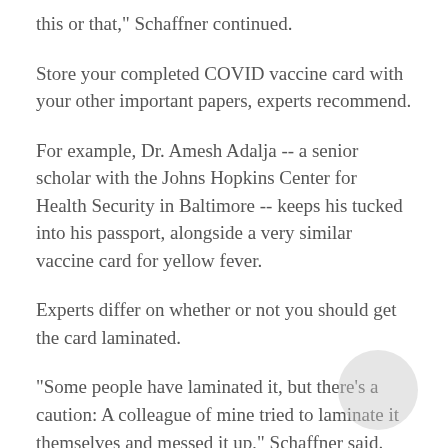this or that," Schaffner continued.
Store your completed COVID vaccine card with your other important papers, experts recommend.
For example, Dr. Amesh Adalja -- a senior scholar with the Johns Hopkins Center for Health Security in Baltimore -- keeps his tucked into his passport, alongside a very similar vaccine card for yellow fever.
Experts differ on whether or not you should get the card laminated.
"Some people have laminated it, but there’s a caution: A colleague of mine tried to laminate it themselves and messed it up," Schaffner said. "Then they had to go out and get a new card, which was a bother."
Office supply stores such as Staples and Office Depot are offering to laminate cards free of charge, but you